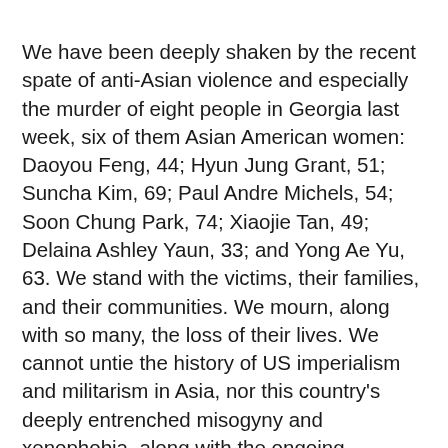We have been deeply shaken by the recent spate of anti-Asian violence and especially the murder of eight people in Georgia last week, six of them Asian American women: Daoyou Feng, 44; Hyun Jung Grant, 51; Suncha Kim, 69; Paul Andre Michels, 54; Soon Chung Park, 74; Xiaojie Tan, 49; Delaina Ashley Yaun, 33; and Yong Ae Yu, 63. We stand with the victims, their families, and their communities. We mourn, along with so many, the loss of their lives. We cannot untie the history of US imperialism and militarism in Asia, nor this country's deeply entrenched misogyny and xenophobia, along with the ongoing criminalization of sex work, from this most recent rise in anti-Asian violence. Anti-Asian racism takes many forms, including interpersonal violence, government neglect, harassment, hate speech, insecure and underpaid labor, and mass deportations, which Asian American communities have experienced since the early days of the pandemic, one